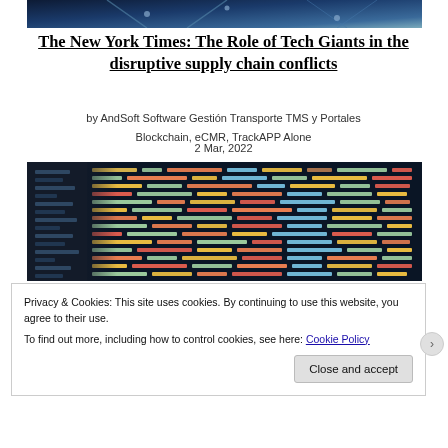[Figure (photo): Top portion of a technology/network image, partially cropped at the top of the page showing blue tones and geometric structures]
The New York Times: The Role of Tech Giants in the disruptive supply chain conflicts
by AndSoft Software Gestión Transporte TMS y Portales Blockchain, eCMR, TrackAPP Alone
2 Mar, 2022
[Figure (photo): Close-up photo of a computer screen displaying colorful code with syntax highlighting in green, yellow, red, and white on a dark background]
Privacy & Cookies: This site uses cookies. By continuing to use this website, you agree to their use.
To find out more, including how to control cookies, see here: Cookie Policy